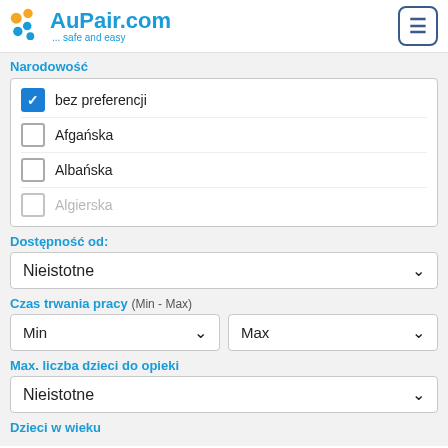[Figure (logo): AuPair.com logo with colored dots and tagline '... safe and easy']
Narodowość
bez preferencji (checked)
Afgańska
Albańska
Algierska
Dostępność od:
Nieistotne
Czas trwania pracy (Min - Max)
Min
Max
Max. liczba dzieci do opieki
Nieistotne
Dzieci w wieku